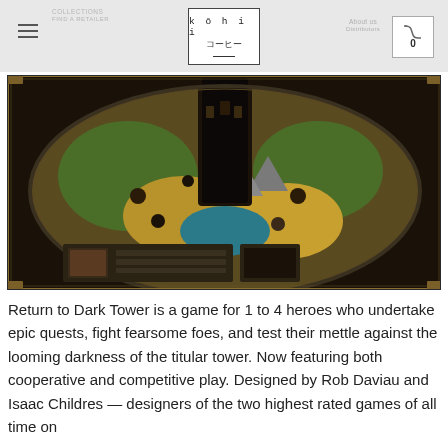kohii | navigation header with logo and cart
[Figure (photo): Aerial view of the Return to Dark Tower board game showing a large circular fantasy game board with detailed terrain, miniatures, and a dark tower in the center. Below the board, a player dashboard with cards and components is visible. Dark background with golden border accents.]
Return to Dark Tower is a game for 1 to 4 heroes who undertake epic quests, fight fearsome foes, and test their mettle against the looming darkness of the titular tower. Now featuring both cooperative and competitive play. Designed by Rob Daviau and Isaac Childres — designers of the two highest rated games of all time on